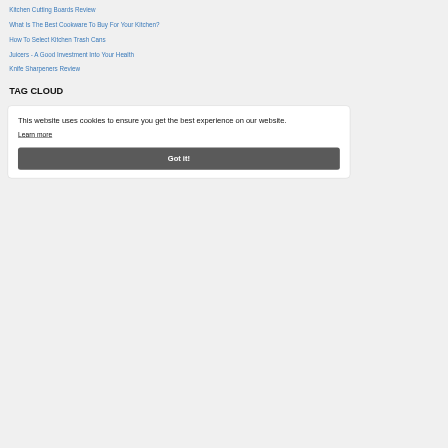Kitchen Cutting Boards Review
What Is The Best Cookware To Buy For Your Kitchen?
How To Select Kitchen Trash Cans
Juicers - A Good Investment Into Your Health
Knife Sharpeners Review
TAG CLOUD
commercial kitchen design   concrete countertops   designing a kitchen   dishwashers   granite countertops   green kitchen   kitchen aid mixer   et ideas
This website uses cookies to ensure you get the best experience on our website.
Learn more
Got it!